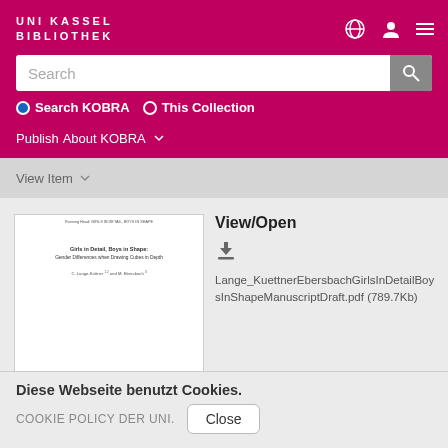UNI KASSEL BIBLIOTHEK
Search
Search KOBRA  This Collection
Publish  About KOBRA
View Item
[Figure (screenshot): Thumbnail of academic paper: Girls in Detail, Boys in Shape: Gender Differences when Drawing Cubes in Depth by C. Lange-Küttner and M. Ebersbach]
View/Open
Lange_KuettnerEbersbachGirlsInDetailBoysInShapeManuscriptDraft.pdf (789.7Kb)
Diese Webseite benutzt Cookies.
COOKIE POLICY DER UNI.  Close